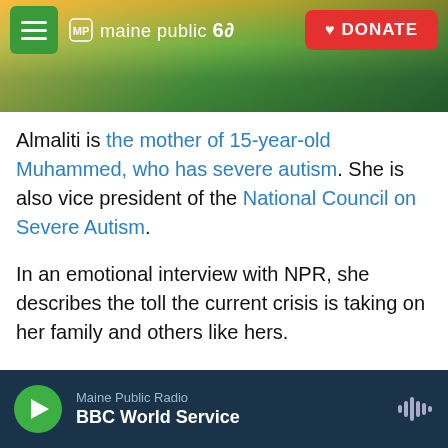[Figure (screenshot): Maine Public 60th anniversary website header banner with sunset landscape photo, hamburger menu button, Maine Public 60 logo in white, and red DONATE button]
Almaliti is the mother of 15-year-old Muhammed, who has severe autism. She is also vice president of the National Council on Severe Autism.
In an emotional interview with NPR, she describes the toll the current crisis is taking on her family and others like hers.
"Muhammed is an energetic, loving boy who doesn't understand what's going on right now. He doesn't understand why he can't go to school. And school is one of his favorite places to go. He doesn't understand why he can't go take a walk in the mall
Maine Public Radio
BBC World Service